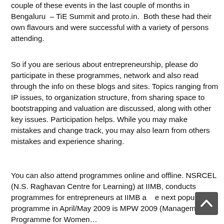couple of these events in the last couple of months in Bengaluru – TiE Summit and proto.in. Both these had their own flavours and were successful with a variety of persons attending.
So if you are serious about entrepreneurship, please do participate in these programmes, network and also read through the info on these blogs and sites. Topics ranging from IP issues, to organization structure, from sharing space to bootstrapping and valuation are discussed, along with other key issues. Participation helps. While you may make mistakes and change track, you may also learn from others mistakes and experience sharing.
You can also attend programmes online and offline. NSRCEL (N.S. Raghavan Centre for Learning) at IIMB, conducts programmes for entrepreneurs at IIMB a… e next popular programme in April/May 2009 is MPW 2009 (Management Programme for Women…